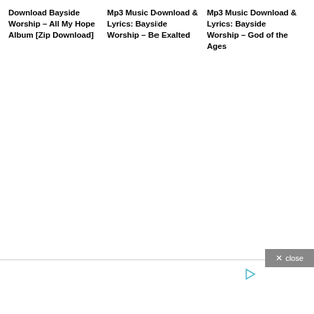Download Bayside Worship – All My Hope Album [Zip Download]
Mp3 Music Download & Lyrics: Bayside Worship – Be Exalted
Mp3 Music Download & Lyrics: Bayside Worship – God of the Ages
[Figure (screenshot): Close button with X close text on grey background]
[Figure (screenshot): Play/audio icon in teal/cyan color]